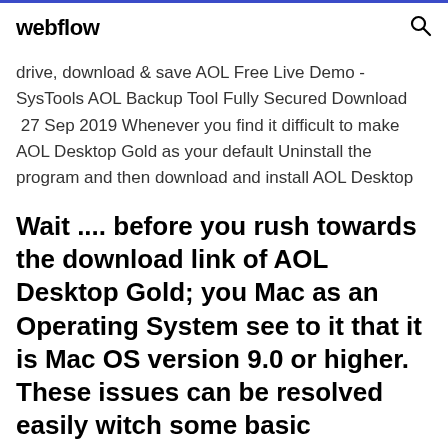webflow
drive, download & save AOL Free Live Demo - SysTools AOL Backup Tool Fully Secured Download  27 Sep 2019 Whenever you find it difficult to make AOL Desktop Gold as your default Uninstall the program and then download and install AOL Desktop
Wait .... before you rush towards the download link of AOL Desktop Gold; you Mac as an Operating System see to it that it is Mac OS version 9.0 or higher. These issues can be resolved easily witch some basic